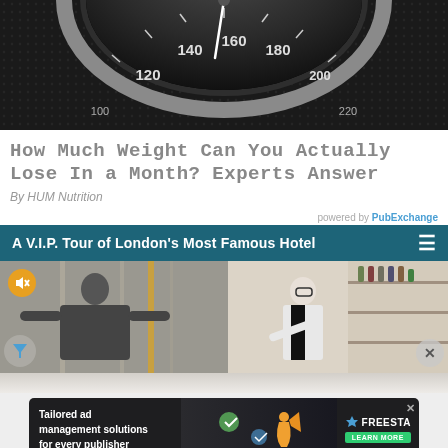[Figure (photo): Close-up of a bathroom scale dial showing numbers including 120, 140, 160, 180, 200]
How Much Weight Can You Actually Lose In a Month? Experts Answer
By HUM Nutrition
powered by PubExchange
A V.I.P. Tour of London's Most Famous Hotel
[Figure (photo): Two side-by-side photos: left shows a man in suit with arms spread in a hotel lobby with mute button overlay; right shows a bartender pouring a drink in a bar area]
[Figure (infographic): Advertisement banner for FreeStarMedia: Tailored ad management solutions for every publisher - Learn More button]